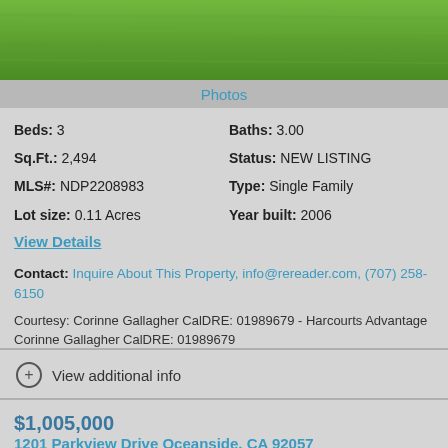[Figure (photo): Aerial or close-up photo of green grass lawn]
Photos
Beds: 3   Baths: 3.00   Sq.Ft.: 2,494   Status: NEW LISTING   MLS#: NDP2208983   Type: Single Family   Lot size: 0.11 Acres   Year built: 2006
View Details
Contact: Inquire About This Property, info@rereader.com, (707) 258-6150
Courtesy: Corinne Gallagher CalDRE: 01989679 - Harcourts Advantage Corinne Gallagher CalDRE: 01989679
Request Info   Save Property
View additional info
$1,005,000
1201 Parkview Drive Oceanside, CA 92057